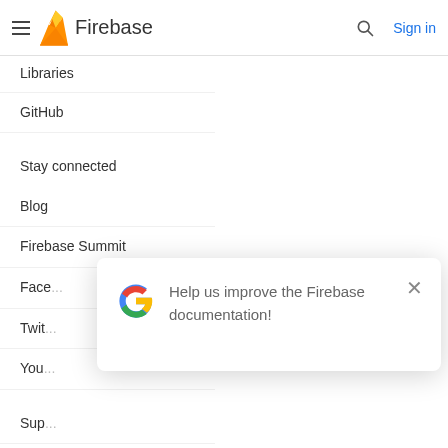Firebase
Libraries
GitHub
Stay connected
Blog
Firebase Summit
Facebook
Twitter
YouTube
Support
Contact
Stack Overflow
[Figure (screenshot): Modal popup with Google G logo and text 'Help us improve the Firebase documentation!' with an X close button]